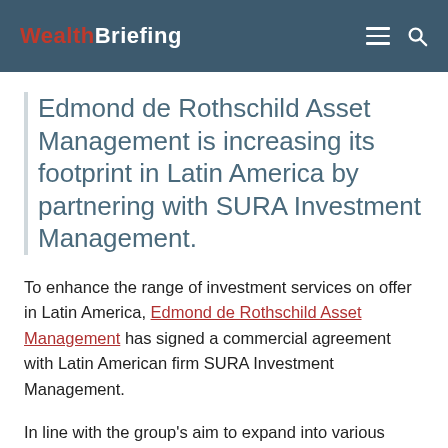WealthBriefing
Edmond de Rothschild Asset Management is increasing its footprint in Latin America by partnering with SURA Investment Management.
To enhance the range of investment services on offer in Latin America, Edmond de Rothschild Asset Management has signed a commercial agreement with Latin American firm SURA Investment Management.
In line with the group's aim to expand into various markets, the partnership will enable the investment services and products of both firms to be available